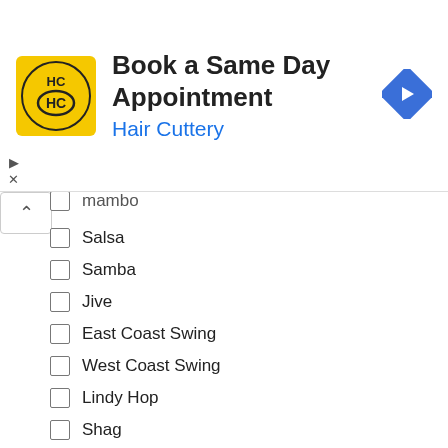[Figure (other): Advertisement banner for Hair Cuttery - Book a Same Day Appointment]
Mambo (partially visible)
Salsa
Samba
Jive
East Coast Swing
West Coast Swing
Lindy Hop
Shag
Polka
Nightclub 2-Step
Hustle
Peabody
Bachata
Reasons/Objectives
Looking for a New Hobby
Enhancing Your Relationship